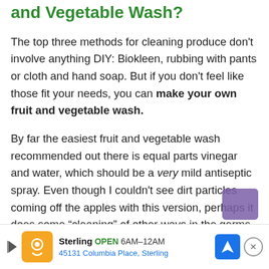and Vegetable Wash?
The top three methods for cleaning produce don't involve anything DIY: Biokleen, rubbing with pants or cloth and hand soap. But if you don't feel like those fit your needs, you can make your own fruit and vegetable wash.
By far the easiest fruit and vegetable wash recommended out there is equal parts vinegar and water, which should be a very mild antiseptic spray. Even though I couldn't see dirt particles coming off the apples with this version, perhaps it does some “cleaning” of other ways in the germs and fungus arena.
[Figure (other): Advertisement banner for Sterling restaurant: orange icon with stylized design, play button arrow, business name Sterling, OPEN badge, hours 6AM-12AM, address 45131 Columbia Place Sterling, blue navigation arrow icon, close button X]